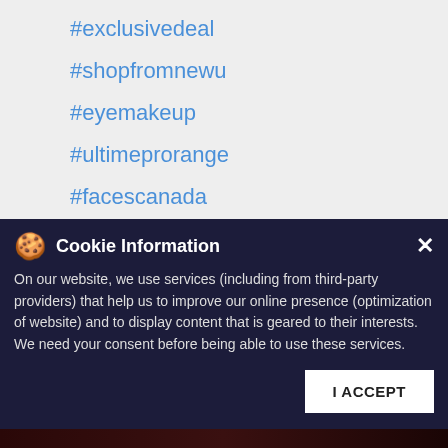#exclusivedeal
#shopfromnewu
#eyemakeup
#ultimeprorange
#facescanada
#instafam
#makeuplook
#kajal
This store is closed. Please visit
Store Locator
Posted On: 26 May 2020 12:51 PM
Cookie Information
On our website, we use services (including from third-party providers) that help us to improve our online presence (optimization of website) and to display content that is geared to their interests. We need your consent before being able to use these services.
I ACCEPT